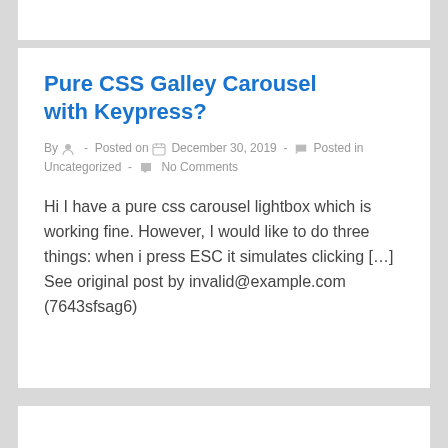Pure CSS Galley Carousel with Keypress?
By  -  Posted on  December 30, 2019  -   Posted in Uncategorized  -   No Comments
Hi I have a pure css carousel lightbox which is working fine. However, I would like to do three things: when i press ESC it simulates clicking […] See original post by invalid@example.com (7643sfsag6)